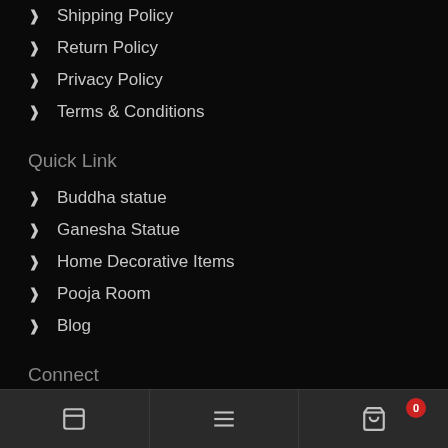Shipping Policy
Return Policy
Privacy Policy
Terms & Conditions
Quick Link
Buddha statue
Ganesha Statue
Home Decorative Items
Pooja Room
Blog
Connect
Navigation bar with icons and cart badge showing 0